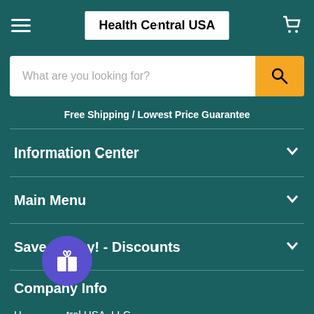Health Central USA
What are you looking for?
Free Shipping / Lowest Price Guarantee
Information Center
Main Menu
Save Money! - Discounts
Company Info
Health Central USA, LLC
530 Commerce St.
Dallas, TX, 75208